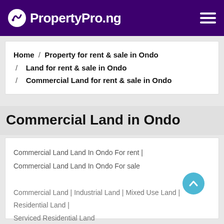PropertyPro.ng
Home / Property for rent & sale in Ondo / Land for rent & sale in Ondo / Commercial Land for rent & sale in Ondo
Commercial Land in Ondo
Commercial Land Land In Ondo For rent | Commercial Land Land In Ondo For sale
Commercial Land | Industrial Land | Mixed Use Land | Residential Land | Serviced Residential Land
Akure | Owo